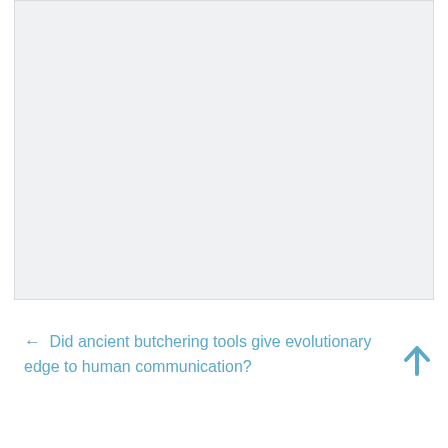[Figure (other): Large light grey rectangular image placeholder area]
← Did ancient butchering tools give evolutionary edge to human communication?